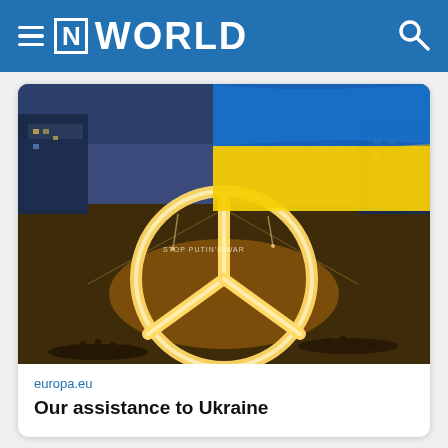≡ [N] WORLD
[Figure (photo): Aerial night photograph of a large peace symbol made from candles/lights in a public square, with a Ukrainian flag (blue and yellow) overlaid in the upper right. City buildings and streets visible in background. Text 'STOP PUTIN'S WAR' visible in the square.]
europa.eu
Our assistance to Ukraine